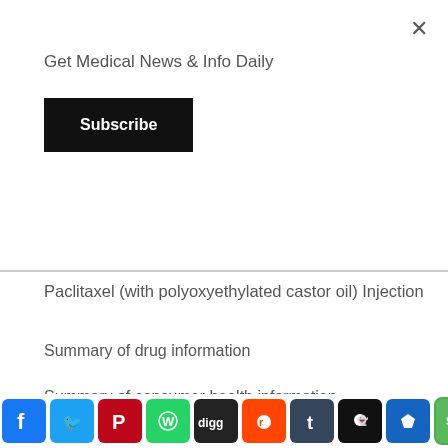Get Medical News & Info Daily
Subscribe
Paclitaxel (with polyoxyethylated castor oil) Injection
Summary of drug information
Summary of consumer health information
Summary of the effect on breastfeeding
[Figure (other): Social media sharing icons row: Facebook, Twitter, Pinterest, WhatsApp, Digg, Reddit, Tumblr, Snapchat, Bookmark, SMS]